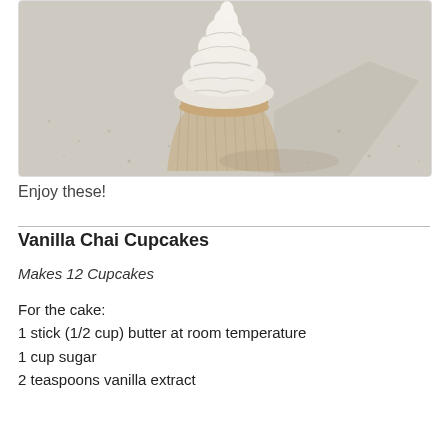[Figure (photo): A vanilla chai cupcake with white swirled frosting on top, in a paper liner, sitting on a light speckled surface. Close-up photograph with soft focus background.]
Enjoy these!
Vanilla Chai Cupcakes
Makes 12 Cupcakes
For the cake:
1 stick (1/2 cup) butter at room temperature
1 cup sugar
2 teaspoons vanilla extract